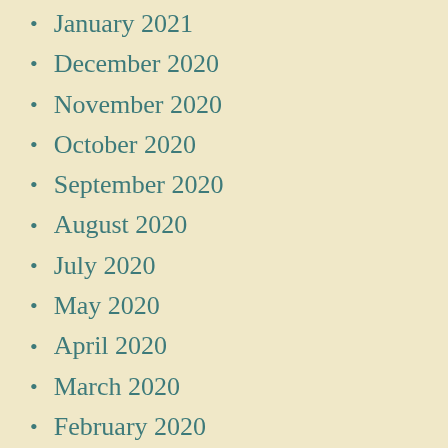January 2021
December 2020
November 2020
October 2020
September 2020
August 2020
July 2020
May 2020
April 2020
March 2020
February 2020
January 2020
December 2019
November 2019
October 2019
September 2019